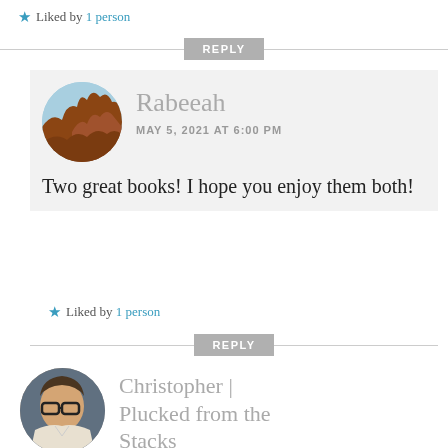★ Liked by 1 person
REPLY
[Figure (photo): Circular avatar photo of Rabeeah showing a reddish rock formation against a blue sky]
Rabeeah
MAY 5, 2021 AT 6:00 PM
Two great books! I hope you enjoy them both!
★ Liked by 1 person
REPLY
[Figure (photo): Circular avatar photo of Christopher showing a man with glasses]
Christopher | Plucked from the Stacks